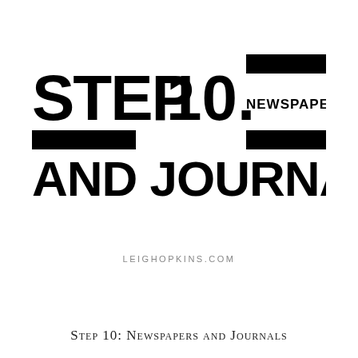[Figure (other): Bold graphic title reading STEP 10. NEWSPAPERS AND JOURNALS with decorative black bars arranged around the text like an equals sign motif]
LEIGHOPKINS.COM
Step 10: Newspapers and Journals